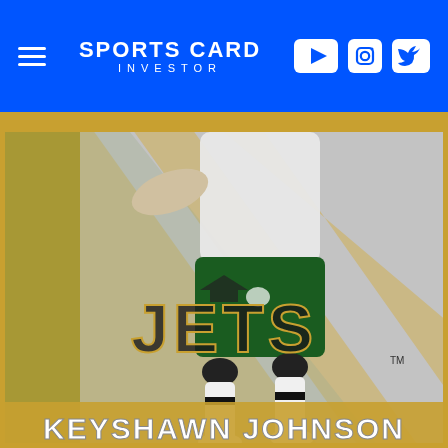Sports Card Investor
[Figure (photo): Sports trading card for Keyshawn Johnson of the New York Jets. The card shows Keyshawn Johnson in his green Jets uniform and white jersey, running on the field. The card has a gold/metallic border with diagonal stripe design. The Jets logo and team name appear prominently in the lower half of the card, and 'KEYSHAWN JOHNSON' is displayed in large metallic letters at the bottom of the card.]